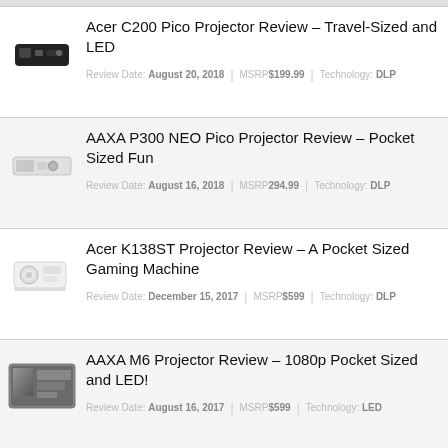Acer C200 Pico Projector Review – Travel-Sized and LED | Review Date: August 20, 2018 | MSRP$199.99 | Technology: DLP
AAXA P300 NEO Pico Projector Review – Pocket Sized Fun | Review Date: August 16, 2018 | MSRP294.99 | Technology: DLP
Acer K138ST Projector Review – A Pocket Sized Gaming Machine | Review Date: December 15, 2017 | MSRP$599 | Technology: DLP
AAXA M6 Projector Review – 1080p Pocket Sized and LED! | Review Date: August 16, 2017 | MSRP$599 | Technology: LED